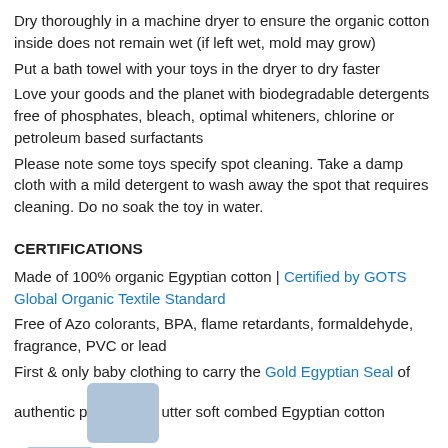Dry thoroughly in a machine dryer to ensure the organic cotton inside does not remain wet (if left wet, mold may grow)
Put a bath towel with your toys in the dryer to dry faster
Love your goods and the planet with biodegradable detergents free of phosphates, bleach, optimal whiteners, chlorine or petroleum based surfactants
Please note some toys specify spot cleaning. Take a damp cloth with a mild detergent to wash away the spot that requires cleaning. Do no soak the toy in water.
CERTIFICATIONS
Made of 100% organic Egyptian cotton | Certified by GOTS Global Organic Textile Standard
Free of Azo colorants, BPA, flame retardants, formaldehyde, fragrance, PVC or lead
First & only baby clothing to carry the Gold Egyptian Seal of authentic pu[redacted]tter soft combed Egyptian cotton
Al[redacted]oducts are ethically made in Certified Fair Trade facilities th[redacted]e to the highest global textile and labor standards to ensure that the people who make our goods are treated well and paid fairly.